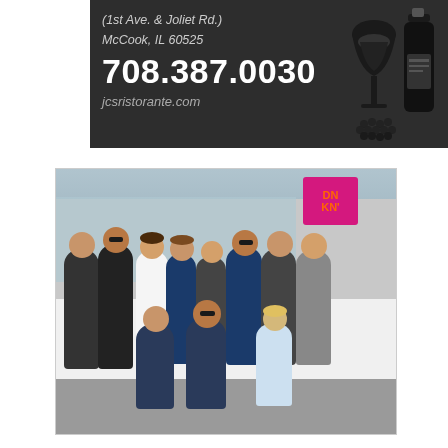[Figure (illustration): Advertisement for JCS Ristorante on dark background with wine glass and bottle silhouette. Shows address (1st Ave. & Joliet Rd.), McCook, IL 60525, phone 708.387.0030, and website jcsristorante.com]
[Figure (photo): Group photo of approximately 12-13 people posing in front of a Dunkin' Donuts store. Group includes people in police/uniform attire and civilians. Some are standing, some kneeling in front.]